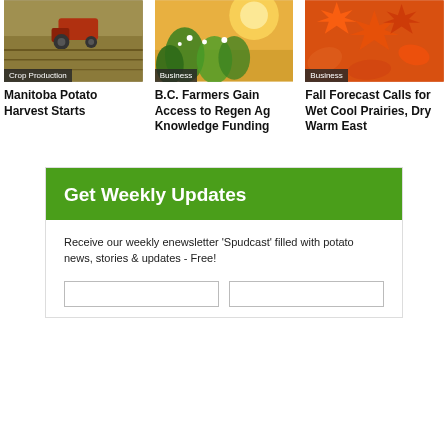[Figure (photo): Agricultural tractor harvesting crops in a field]
Crop Production
Manitoba Potato Harvest Starts
[Figure (photo): Sunlit green plants and flowers outdoors]
Business
B.C. Farmers Gain Access to Regen Ag Knowledge Funding
[Figure (photo): Autumn red maple leaves close-up]
Business
Fall Forecast Calls for Wet Cool Prairies, Dry Warm East
Get Weekly Updates
Receive our weekly enewsletter 'Spudcast' filled with potato news, stories & updates - Free!